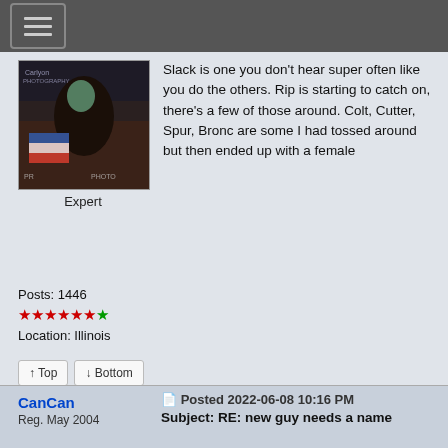Navigation menu bar with hamburger icon
[Figure (photo): Avatar photo of a rodeo rider on a horse, with watermark text 'Carlyon Photography' and 'PROOF PHOTO']
Expert
Slack is one you don't hear super often like you do the others. Rip is starting to catch on, there's a few of those around. Colt, Cutter, Spur, Bronc are some I had tossed around but then ended up with a female
Posts: 1446
★★★★★★★
Location: Illinois
↑ Top
↓ Bottom
CanCan
Reg. May 2004
Posted 2022-06-08 10:16 PM
Subject: RE: new guy needs a name